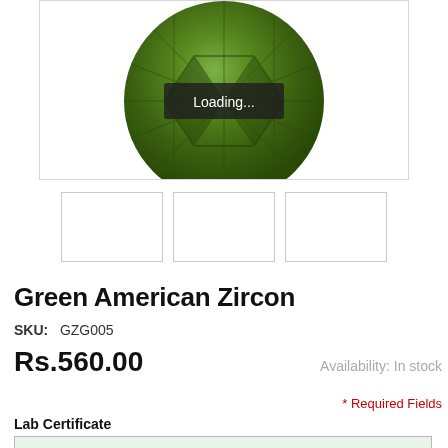[Figure (photo): Round brilliant cut green American Zircon gemstone viewed from above, showing facets. A dark semi-transparent 'Loading...' overlay badge is displayed on top of the gem image.]
[Figure (photo): Three small thumbnail image placeholders shown below the main gem image, all empty/white with light gray borders.]
Green American Zircon
SKU:  GZG005
Rs.560.00
Availability: In stock
* Required Fields
Lab Certificate